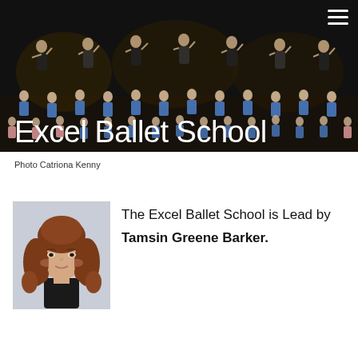[Figure (photo): Hero image of Excel Ballet School performance with dancers on stage, overlaid with white title text 'Excel Ballet School']
Photo Catriona Kenny
[Figure (photo): Portrait photo of Tamsin Greene Barker, a young woman with long curly auburn hair]
The Excel Ballet School is Lead by Tamsin Greene Barker.